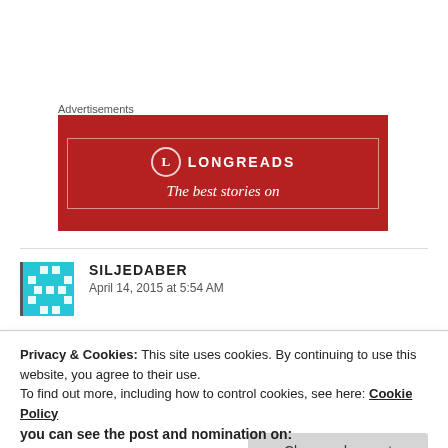Advertisements
[Figure (logo): Longreads advertisement banner with red background, circular L logo, and text 'The best stories on']
SILJEDABER
April 14, 2015 at 5:54 AM
Privacy & Cookies: This site uses cookies. By continuing to use this website, you agree to their use.
To find out more, including how to control cookies, see here: Cookie Policy
Close and accept
you can see the post and nomination on: